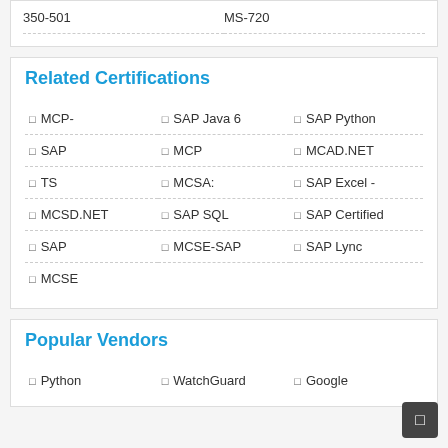350-501　　　　　MS-720
Related Certifications
MCP-
SAP Java 6
SAP Python
SAP
MCP
MCAD.NET
TS
MCSA:
SAP Excel -
MCSD.NET
SAP SQL
SAP Certified
SAP
MCSE-SAP
SAP Lync
MCSE
Popular Vendors
Python
WatchGuard
Google